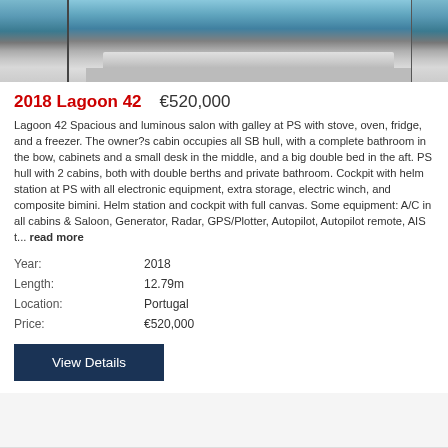[Figure (photo): Photograph of a 2018 Lagoon 42 catamaran sailboat moored at a dock, showing the white hull from the side]
2018 Lagoon 42    €520,000
Lagoon 42 Spacious and luminous salon with galley at PS with stove, oven, fridge, and a freezer. The owner?s cabin occupies all SB hull, with a complete bathroom in the bow, cabinets and a small desk in the middle, and a big double bed in the aft. PS hull with 2 cabins, both with double berths and private bathroom. Cockpit with helm station at PS with all electronic equipment, extra storage, electric winch, and composite bimini. Helm station and cockpit with full canvas. Some equipment: A/C in all cabins & Saloon, Generator, Radar, GPS/Plotter, Autopilot, Autopilot remote, AIS t... read more
| Year: | 2018 |
| Length: | 12.79m |
| Location: | Portugal |
| Price: | €520,000 |
View Details